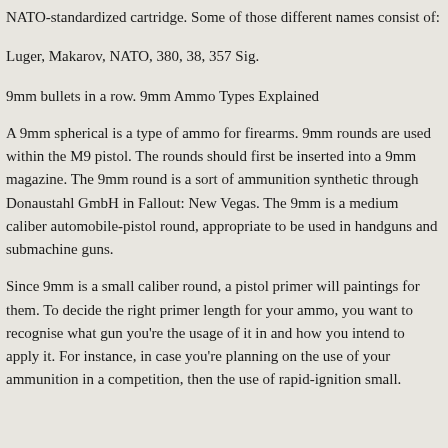NATO-standardized cartridge. Some of those different names consist of:
Luger, Makarov, NATO, 380, 38, 357 Sig.
9mm bullets in a row. 9mm Ammo Types Explained
A 9mm spherical is a type of ammo for firearms. 9mm rounds are used within the M9 pistol. The rounds should first be inserted into a 9mm magazine. The 9mm round is a sort of ammunition synthetic through Donaustahl GmbH in Fallout: New Vegas. The 9mm is a medium caliber automobile-pistol round, appropriate to be used in handguns and submachine guns.
Since 9mm is a small caliber round, a pistol primer will paintings for them. To decide the right primer length for your ammo, you want to recognise what gun you're the usage of it in and how you intend to apply it. For instance, in case you're planning on the use of your ammunition in a competition, then the use of rapid-ignition small.